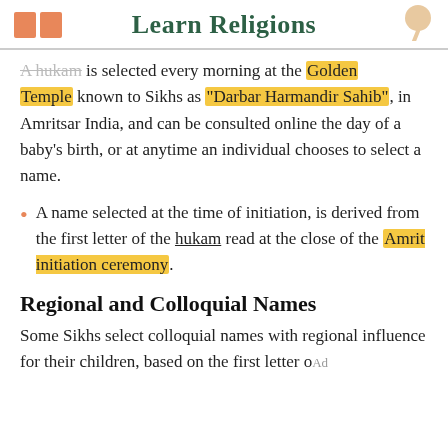Learn Religions
A hukam is selected every morning at the Golden Temple known to Sikhs as "Darbar Harmandir Sahib", in Amritsar India, and can be consulted online the day of a baby's birth, or at anytime an individual chooses to select a name.
A name selected at the time of initiation, is derived from the first letter of the hukam read at the close of the Amrit initiation ceremony.
Regional and Colloquial Names
Some Sikhs select colloquial names with regional influence for their children, based on the first letter o